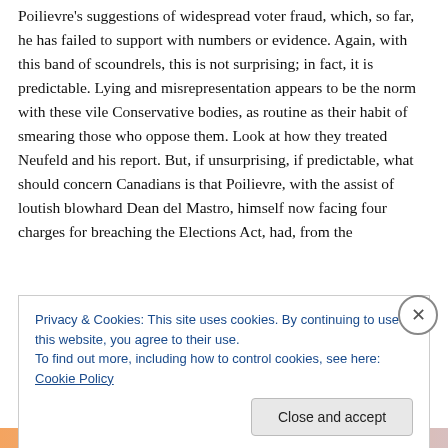Poilievre's suggestions of widespread voter fraud, which, so far, he has failed to support with numbers or evidence. Again, with this band of scoundrels, this is not surprising; in fact, it is predictable. Lying and misrepresentation appears to be the norm with these vile Conservative bodies, as routine as their habit of smearing those who oppose them. Look at how they treated Neufeld and his report. But, if unsurprising, if predictable, what should concern Canadians is that Poilievre, with the assist of loutish blowhard Dean del Mastro, himself now facing four charges for breaching the Elections Act, had, from the
Privacy & Cookies: This site uses cookies. By continuing to use this website, you agree to their use.
To find out more, including how to control cookies, see here: Cookie Policy
Close and accept